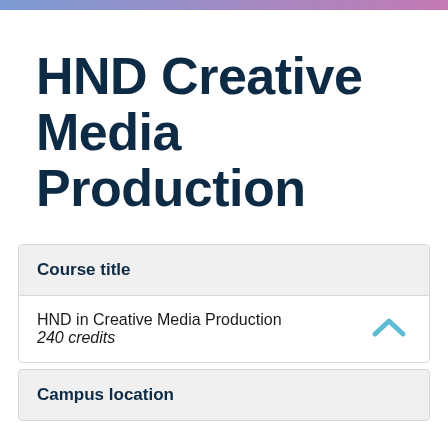HND Creative Media Production
Course title
HND in Creative Media Production
240 credits
Campus location